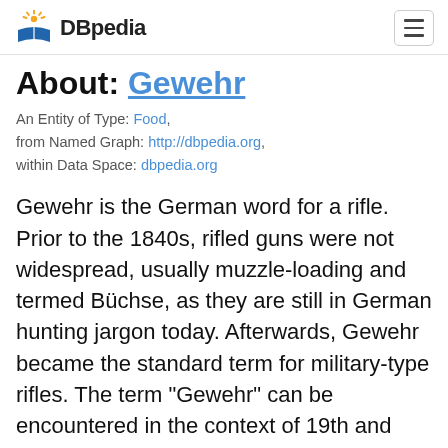DBpedia
About: Gewehr
An Entity of Type: Food, from Named Graph: http://dbpedia.org, within Data Space: dbpedia.org
Gewehr is the German word for a rifle. Prior to the 1840s, rifled guns were not widespread, usually muzzle-loading and termed Büchse, as they are still in German hunting jargon today. Afterwards, Gewehr became the standard term for military-type rifles. The term "Gewehr" can be encountered in the context of 19th and 20th century military history for